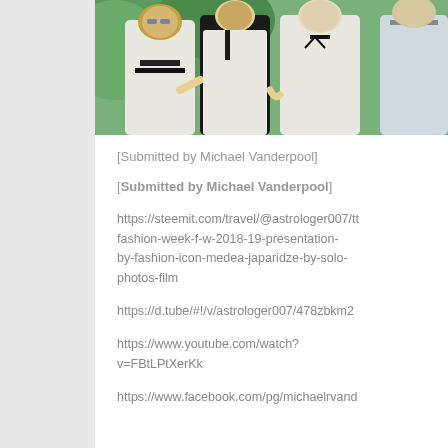[Figure (photo): Group photo of people dressed in white formal/fashion attire at what appears to be a fashion event. Several people including women in white off-shoulder dresses with black trim and a man in white suit are visible.]
[Submitted by Michael Vanderpool]
[Submitted by Michael Vanderpool]
https://steemit.com/travel/@astrologer007/tt fashion-week-f-w-2018-19-presentation-by-fashion-icon-medea-japaridze-by-solo-photos-film
https://d.tube/#!/v/astrologer007/478zbkm2
https://www.youtube.com/watch?v=FBtLPtXerKk
https://www.facebook.com/pg/michaelrvand